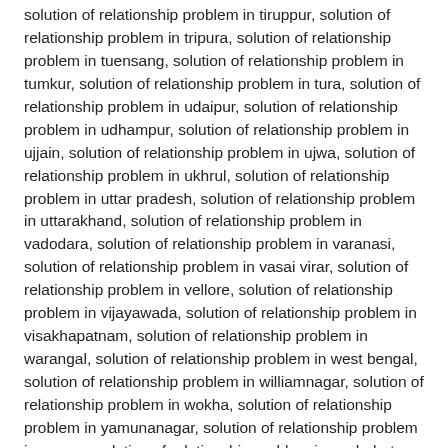solution of relationship problem in tiruppur, solution of relationship problem in tripura, solution of relationship problem in tuensang, solution of relationship problem in tumkur, solution of relationship problem in tura, solution of relationship problem in udaipur, solution of relationship problem in udhampur, solution of relationship problem in ujjain, solution of relationship problem in ujwa, solution of relationship problem in ukhrul, solution of relationship problem in uttar pradesh, solution of relationship problem in uttarakhand, solution of relationship problem in vadodara, solution of relationship problem in varanasi, solution of relationship problem in vasai virar, solution of relationship problem in vellore, solution of relationship problem in vijayawada, solution of relationship problem in visakhapatnam, solution of relationship problem in warangal, solution of relationship problem in west bengal, solution of relationship problem in williamnagar, solution of relationship problem in wokha, solution of relationship problem in yamunanagar, solution of relationship problem in yanam, solution of relationship problem in zunheboto,